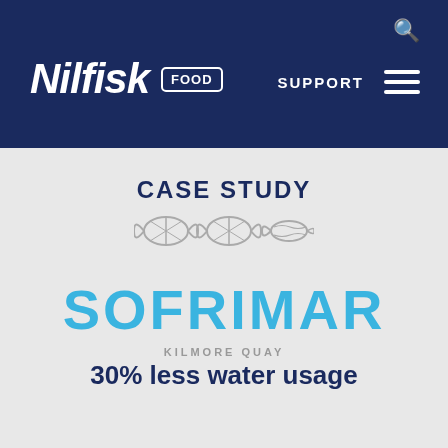Nilfisk FOOD — SUPPORT navigation bar
CASE STUDY
[Figure (logo): Sofrimar fish brand logo — three stylized fish icons in grey outline]
SOFRIMAR
KILMORE QUAY
30% less water usage